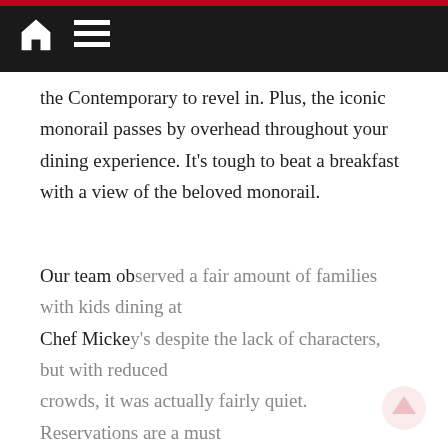Navigation bar with home and menu icons
the Contemporary to revel in. Plus, the iconic monorail passes by overhead throughout your dining experience. It’s tough to beat a breakfast with a view of the beloved monorail.
Our team observed a fair amount of families with kids dining at Chef Mickey’s despite the lack of characters, but with reduced crowds, it was actually fairly quiet. Reservations are a must